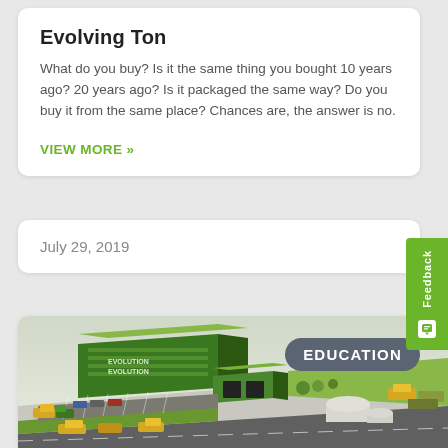Evolving Ton
What do you buy? Is it the same thing you bought 10 years ago? 20 years ago? Is it packaged the same way? Do you buy it from the same place? Chances are, the answer is no.
VIEW MORE »
July 29, 2019
[Figure (illustration): Aerial isometric view of an industrial/commercial facility with green-roofed buildings, parking areas, and surrounding infrastructure. An 'EDUCATION' badge overlays the top right area of the image.]